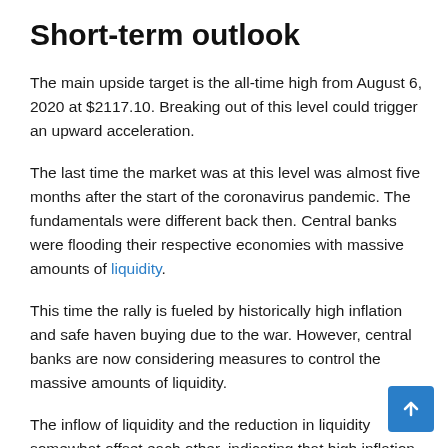Short-term outlook
The main upside target is the all-time high from August 6, 2020 at $2117.10. Breaking out of this level could trigger an upward acceleration.
The last time the market was at this level was almost five months after the start of the coronavirus pandemic. The fundamentals were different back then. Central banks were flooding their respective economies with massive amounts of liquidity.
This time the rally is fueled by historically high inflation and safe haven buying due to the war. However, central banks are now considering measures to control the massive amounts of liquidity.
The inflow of liquidity and the reduction in liquidity somewhat offset each other, indicating that high inflation and safe-haven